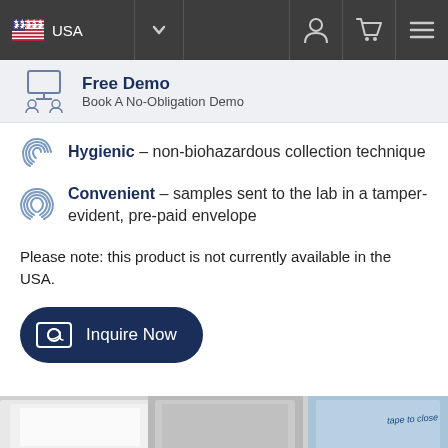USA
Free Demo – Book A No-Obligation Demo
Hygienic – non-biohazardous collection technique
Convenient – samples sent to the lab in a tamper-evident, pre-paid envelope
Please note: this product is not currently available in the USA.
Inquire Now
[Figure (photo): Bottom strip showing partial product packaging images]